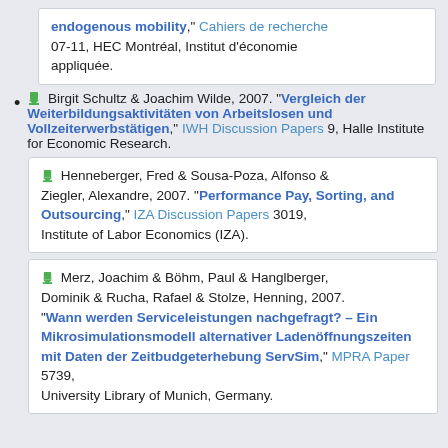endogenous mobility," Cahiers de recherche 07-11, HEC Montréal, Institut d'économie appliquée.
Birgit Schultz & Joachim Wilde, 2007. "Vergleich der Weiterbildungsaktivitäten von Arbeitslosen und Vollzeiterwerbstätigen," IWH Discussion Papers 9, Halle Institute for Economic Research.
Henneberger, Fred & Sousa-Poza, Alfonso & Ziegler, Alexandre, 2007. "Performance Pay, Sorting, and Outsourcing," IZA Discussion Papers 3019, Institute of Labor Economics (IZA).
Merz, Joachim & Böhm, Paul & Hanglberger, Dominik & Rucha, Rafael & Stolze, Henning, 2007. "Wann werden Serviceleistungen nachgefragt? – Ein Mikrosimulationsmodell alternativer Ladenöffnungszeiten mit Daten der Zeitbudgeterhebung ServSim," MPRA Paper 5739, University Library of Munich, Germany.